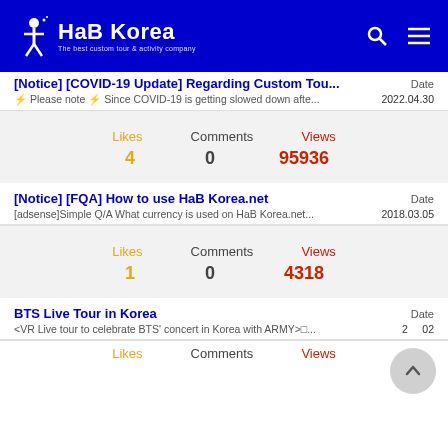HaB Korea — The best custom tour & activity company
[Notice] [COVID-19 Update] Regarding Custom Tou... Date
⚡ Please note ⚡ Since COVID-19 is getting slowed down afte... 2022.04.30
Likes 4   Comments 0   Views 95936
[Notice] [FQA] How to use HaB Korea.net Date
[adsense]Simple Q/A What currency is used on HaB Korea.net... 2018.03.05
Likes 1   Comments 0   Views 4318
BTS Live Tour in Korea Date
<VR Live tour to celebrate BTS' concert in Korea with ARMY>□... 2...02
Likes  Comments  Views